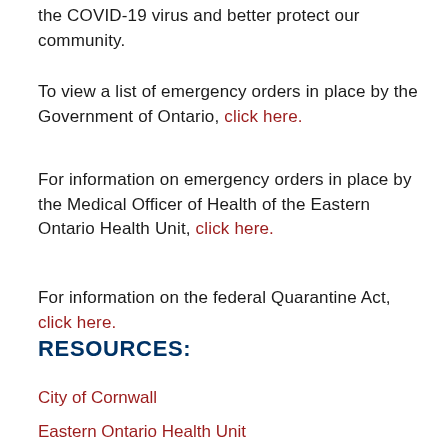the COVID-19 virus and better protect our community.
To view a list of emergency orders in place by the Government of Ontario, click here.
For information on emergency orders in place by the Medical Officer of Health of the Eastern Ontario Health Unit, click here.
For information on the federal Quarantine Act, click here.
RESOURCES:
City of Cornwall
Eastern Ontario Health Unit